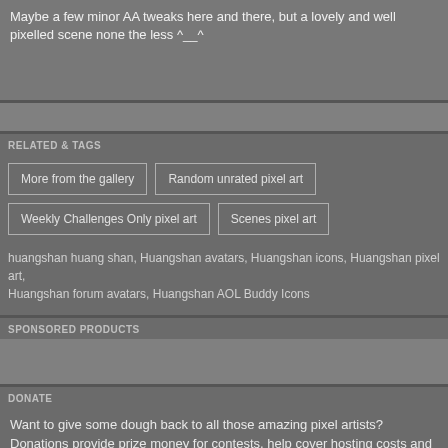Maybe a few minor AA tweaks here and there, but a lovely and well pixelled scene none the less ^__^
RELATED & TAGS
More from the gallery | Random unrated pixel art | Weekly Challenges Only pixel art | Scenes pixel art
huangshan huang shan, Huangshan avatars, Huangshan icons, Huangshan pixel art, Huangshan forum avatars, Huangshan AOL Buddy Icons
SPONSORED PRODUCTS
DONATE
Want to give some dough back to all those amazing pixel artists? Donations provide prize money for contests, help cover hosting costs and support new initiatives.
Support the arts!